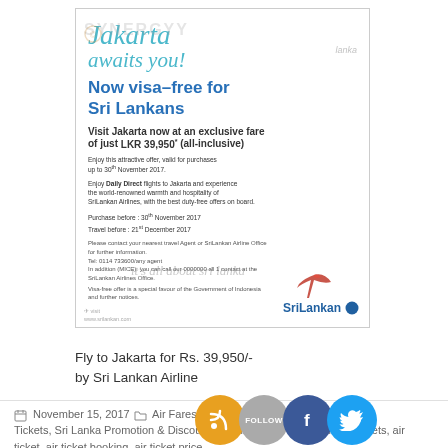[Figure (illustration): Advertisement for Sri Lankan Airlines: Jakarta awaits you! Now visa-free for Sri Lankans. Fly to Jakarta at LKR 39,950 all-inclusive. Features SriLankan Airlines logo with bird emblem. Watermarks: SYNERGYY and 'it's all about sri lanka'.]
Fly to Jakarta for Rs. 39,950/-
by Sri Lankan Airline
November 15, 2017
Air Fares, Air Tickets, Sri Lanka Promotion and Discounts, air flights, air lanka, air line tickets, air ticket, air ticket booking, air ticket price,